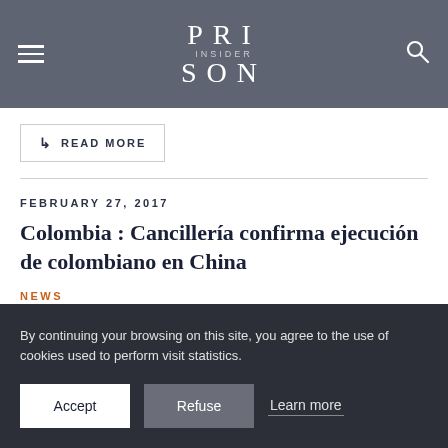PRISON INSIDER
READ MORE
FEBRUARY 27, 2017
Colombia : Cancillería confirma ejecución de colombiano en China
NEWS
By continuing your browsing on this site, you agree to the use of cookies used to perform visit statistics.